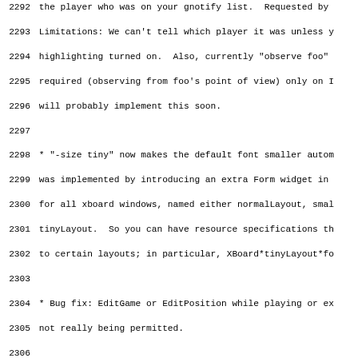2292 the player who was on your gnotify list.  Requested by
2293 Limitations: We can't tell which player it was unless y
2294 highlighting turned on.  Also, currently "observe foo"
2295 required (observing from foo's point of view) only on I
2296 will probably implement this soon.
2297
2298 * "-size tiny" now makes the default font smaller autom
2299 was implemented by introducing an extra Form widget in
2300 for all xboard windows, named either normalLayout, smal
2301 tinyLayout.  So you can have resource specifications th
2302 to certain layouts; in particular, XBoard*tinyLayout*fo
2303
2304 * Bug fix: EditGame or EditPosition while playing or ex
2305 not really being permitted.
2306
2307 * WinBoard bug fix: On the EditPosition menu, King did
2308
2309 * Added text catalog of WinSock error messages to WinBo
2310 Microsoft still has not put them in the system message
2311
2312 * Removed support for older ICS game-ending messages th
2313 a PGN result token (*, 0-1, 1-0, or 1/2-1/2) after the
2314 The code for older messages was sometimes firing on the
2315 messages, due to parsing ambiguity.  If the current coo
2316 message, it will understand that the game is over, but
2317 display * as a result token instead of trying to guess
2318 interpreting the text message.
2319
2320 3.4, patchlevel 0 -- Tue Nov 21 01:02:50 PST 1995  Tim
2321
2322 * This patchlevel was released for xboard only.
2323